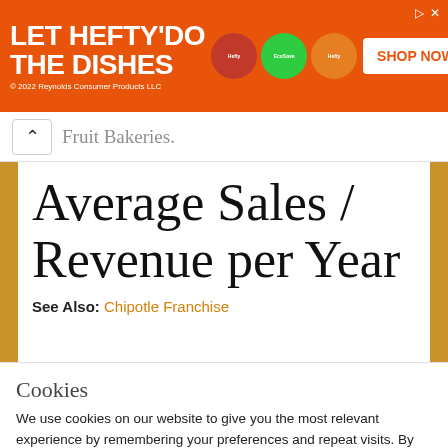[Figure (illustration): Advertisement banner: orange background with text 'LET HEFTY DO THE DISHES', product images of dish soap pods, and 'SHOP NOW' button. Copyright 2022 Reynolds Consumer Products LLC.]
Fruit Bakeries.
Average Sales / Revenue per Year
See Also: Chipotle Franchise
Cookies
We use cookies on our website to give you the most relevant experience by remembering your preferences and repeat visits. By clicking “Accept All”, you consent to the use of ALL the cookies. However, you may visit “Cookie Settings” to provide a controlled consent.